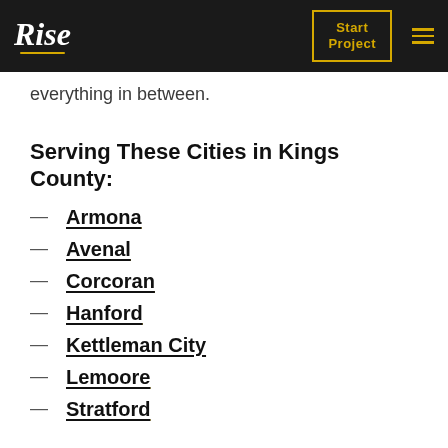Rise — Start Project navigation bar
everything in between.
Serving These Cities in Kings County:
Armona
Avenal
Corcoran
Hanford
Kettleman City
Lemoore
Stratford